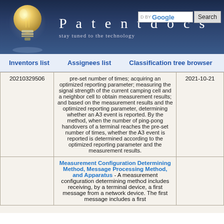[Figure (logo): Patentdocs website header with light bulb logo, site title 'Patentdocs', tagline 'stay tuned to the technology', Google search box and Search button]
Inventors list   Assignees list   Classification tree browser
| 20210329506 | pre-set number of times; acquiring an optimized reporting parameter; measuring the signal strength of the current camping cell and a neighbor cell to obtain measurement results; and based on the measurement results and the optimized reporting parameter, determining whether an A3 event is reported. By the method, when the number of ping-pong handovers of a terminal reaches the pre-set number of times, whether the A3 event is reported is determined according to the optimized reporting parameter and the measurement results. | 2021-10-21 |
|  | Measurement Configuration Determining Method, Message Processing Method, and Apparatus - A measurement configuration determining method includes receiving, by a terminal device, a first message from a network device. The first message includes a first... |  |